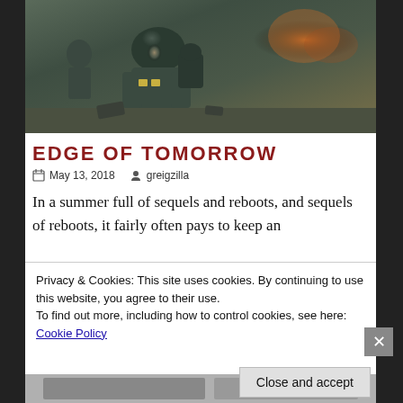[Figure (photo): Movie still from Edge of Tomorrow showing a soldier in combat armor on a battlefield]
EDGE OF TOMORROW
May 13, 2018   greigzilla
In a summer full of sequels and reboots, and sequels of reboots, it fairly often pays to keep an
Privacy & Cookies: This site uses cookies. By continuing to use this website, you agree to their use.
To find out more, including how to control cookies, see here: Cookie Policy
Close and accept